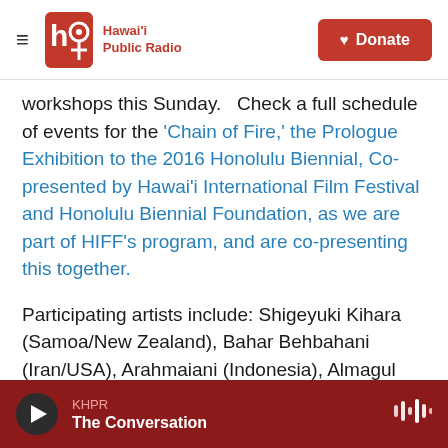Hawai'i Public Radio — Donate
workshops this Sunday.   Check a full schedule of events for the 'Chain of Fire,' the Prologue Exhibition to the 2016 Honolulu Biennial, Co-presented by Hawai'i International Film Festival and Honolulu Biennial Foundation, as we are part of HIFF's program, and are co-presenting this together.
Participating artists include: Shigeyuki Kihara (Samoa/New Zealand), Bahar Behbahani (Iran/USA), Arahmaiani (Indonesia), Almagul Menlibayeva (Kazakhstan), Adrienne Keahi Pao (Hawai'i/USA), Mark Salvatus (Philippines), and
KHPR — The Conversation